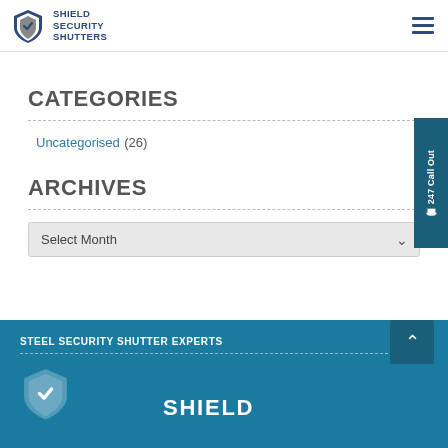Shield Security Shutters
CATEGORIES
Uncategorised (26)
ARCHIVES
Select Month
STEEL SECURITY SHUTTER EXPERTS / SHIELD